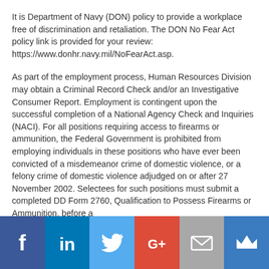It is Department of Navy (DON) policy to provide a workplace free of discrimination and retaliation. The DON No Fear Act policy link is provided for your review: https://www.donhr.navy.mil/NoFearAct.asp.
As part of the employment process, Human Resources Division may obtain a Criminal Record Check and/or an Investigative Consumer Report. Employment is contingent upon the successful completion of a National Agency Check and Inquiries (NACI). For all positions requiring access to firearms or ammunition, the Federal Government is prohibited from employing individuals in these positions who have ever been convicted of a misdemeanor crime of domestic violence, or a felony crime of domestic violence adjudged on or after 27 November 2002. Selectees for such positions must submit a completed DD Form 2760, Qualification to Possess Firearms or Ammunition, before a
[Figure (infographic): Social media share bar with icons: Facebook (blue), LinkedIn (blue), Twitter (light blue), Google+ (red), Email (gray), Crown/MeWe (blue)]